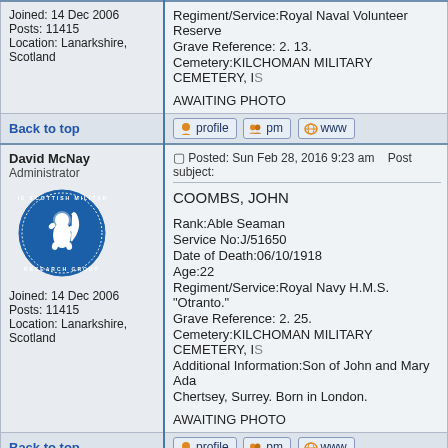Joined: 14 Dec 2006
Posts: 11415
Location: Lanarkshire, Scotland
Regiment/Service:Royal Naval Volunteer Reserve
Grave Reference: 2. 13.
Cemetery:KILCHOMAN MILITARY CEMETERY, I...

AWAITING PHOTO
Back to top
profile  pm  www
David McNay
Administrator
[Figure (logo): Scottish Military Research Group circular blue logo with lion rampant]
Joined: 14 Dec 2006
Posts: 11415
Location: Lanarkshire, Scotland
Posted: Sun Feb 28, 2016 9:23 am   Post subject:
COOMBS, JOHN

Rank:Able Seaman
Service No:J/51650
Date of Death:06/10/1918
Age:22
Regiment/Service:Royal Navy H.M.S. "Otranto."
Grave Reference: 2. 25.
Cemetery:KILCHOMAN MILITARY CEMETERY, I...
Additional Information:Son of John and Mary Ada...
Chertsey, Surrey. Born in London.

AWAITING PHOTO
Back to top
profile  pm  www